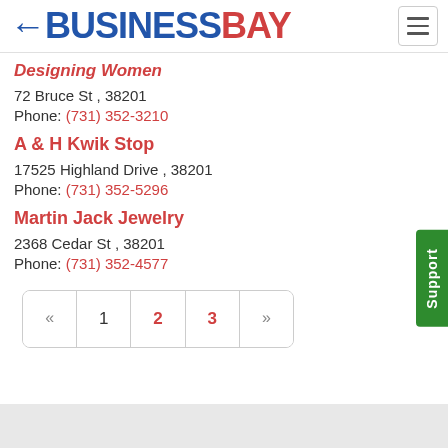←BUSINESSBAY
Designing Women
72 Bruce St , 38201
Phone: (731) 352-3210
A & H Kwik Stop
17525 Highland Drive , 38201
Phone: (731) 352-5296
Martin Jack Jewelry
2368 Cedar St , 38201
Phone: (731) 352-4577
« 1 2 3 »